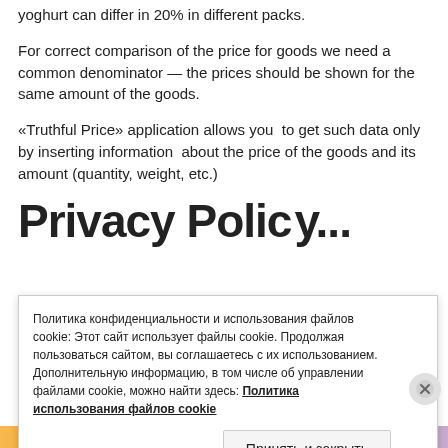yoghurt can differ in 20% in different packs.
For correct comparison of the price for goods we need a common denominator — the prices should be shown for the same amount of the goods.
«Truthful Price» application allows you to get such data only by inserting information about the price of the goods and its amount (quantity, weight, etc.)
Privacy Policy (partial, cut off)
Политика конфиденциальности и использования файлов cookie: Этот сайт использует файлы cookie. Продолжая пользоваться сайтом, вы соглашаетесь с их использованием. Дополнительную информацию, в том числе об управлении файлами cookie, можно найти здесь: Политика использования файлов cookie
Принять и закрыть